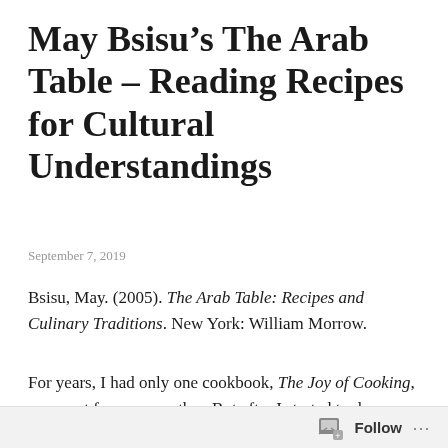May Bsisu’s The Arab Table – Reading Recipes for Cultural Understandings
September 7, 2019
Bsisu, May. (2005). The Arab Table: Recipes and Culinary Traditions. New York: William Morrow.
For years, I had only one cookbook, The Joy of Cooking, a present from my mother. But after I started to do research on foodways in Southern